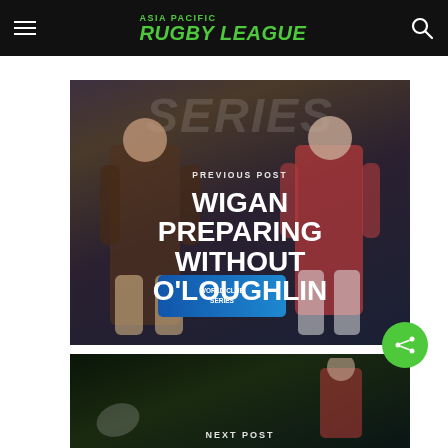Asia Pacific Rugby League
[Figure (photo): Two rugby league players, one in dark brown kit and one in red and white stripes, standing in front of a 'Series' backdrop with World Club Series branding. Text overlay: PREVIOUS POST / WIGAN PREPARING WITHOUT O'LOUGHLIN]
PREVIOUS POST
WIGAN PREPARING WITHOUT O'LOUGHLIN
[Figure (photo): Rugby players on a dark pitch, partial view, with NEXT POST label overlay]
NEXT POST